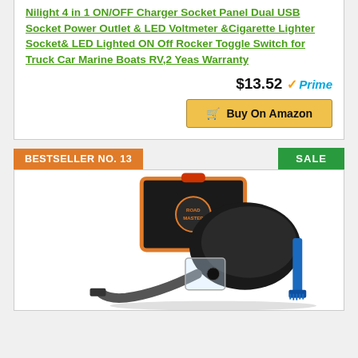Nilight 4 in 1 ON/OFF Charger Socket Panel Dual USB Socket Power Outlet & LED Voltmeter &Cigarette Lighter Socket& LED Lighted ON Off Rocker Toggle Switch for Truck Car Marine Boats RV,2 Yeas Warranty
$13.52 Prime
Buy On Amazon
BESTSELLER NO. 13
SALE
[Figure (photo): A car vacuum cleaner with carrying case and attachments, shown on white background]